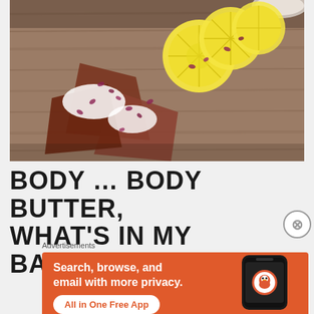[Figure (photo): Food photo on a wooden cutting board showing lemon slices and pieces of chocolate/coconut dessert with dried rose petals on top, placed on a rustic wooden surface. A white bowl is visible in the upper right corner.]
BODY … BODY BUTTER, WHAT'S IN MY BAG….
[Figure (infographic): DuckDuckGo advertisement banner on orange background. Text reads: Search, browse, and email with more privacy. All in One Free App. Shows a smartphone with the DuckDuckGo logo and branding.]
Advertisements